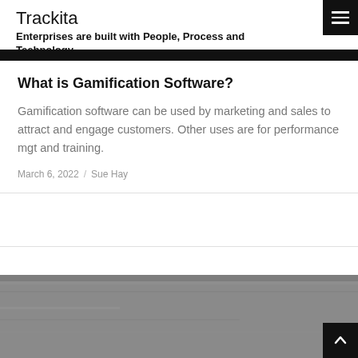Trackita
Enterprises are built with People, Process and Technology
What is Gamification Software?
Gamification software can be used by marketing and sales to attract and engage customers. Other uses are for performance mgt and training.
March 6, 2022 / Sue Hay
[Figure (photo): Grayscale photograph partially visible at bottom of page]